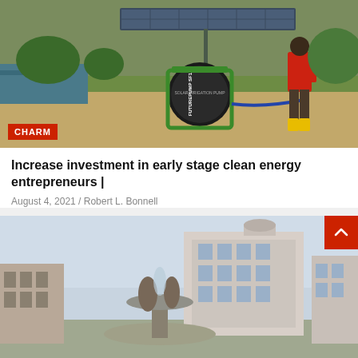[Figure (photo): A man in a red shirt and yellow boots standing next to a FuturePump SF1 solar-powered water pump in a rural outdoor setting with grass and greenery. A solar panel is visible above the pump.]
CHARM
Increase investment in early stage clean energy entrepreneurs |
August 4, 2021 / Robert L. Bonnell
Charm Impact is currently funding Modern Farming Technologies, which is deploying solar water pumps in remote…
[Figure (photo): A city square with a classical fountain in the foreground featuring sculptural figures, and European-style buildings in the background under a clear sky.]